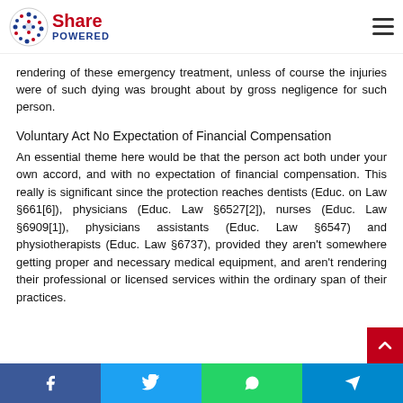Share Powered
rendering of these emergency treatment, unless of course the injuries were of such dying was brought about by gross negligence for such person.
Voluntary Act No Expectation of Financial Compensation
An essential theme here would be that the person act both under your own accord, and with no expectation of financial compensation. This really is significant since the protection reaches dentists (Educ. on Law §661[6]), physicians (Educ. Law §6527[2]), nurses (Educ. Law §6909[1]), physicians assistants (Educ. Law §6547) and physiotherapists (Educ. Law §6737), provided they aren't somewhere getting proper and necessary medical equipment, and aren't rendering their professional or licensed services within the ordinary span of their practices.
Facebook Twitter WhatsApp Telegram